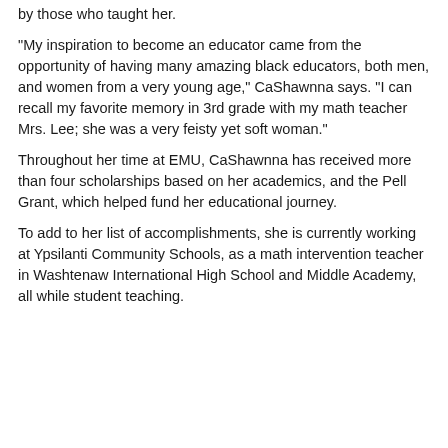by those who taught her.
“My inspiration to become an educator came from the opportunity of having many amazing black educators, both men, and women from a very young age,” CaShawnna says. “I can recall my favorite memory in 3rd grade with my math teacher Mrs. Lee; she was a very feisty yet soft woman.”
Throughout her time at EMU, CaShawnna has received more than four scholarships based on her academics, and the Pell Grant, which helped fund her educational journey.
To add to her list of accomplishments, she is currently working at Ypsilanti Community Schools, as a math intervention teacher in Washtenaw International High School and Middle Academy, all while student teaching.